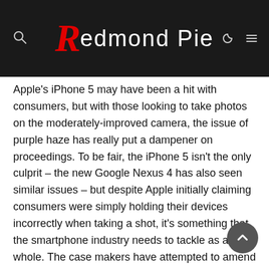Redmond Pie
Apple's iPhone 5 may have been a hit with consumers, but with those looking to take photos on the moderately-improved camera, the issue of purple haze has really put a dampener on proceedings. To be fair, the iPhone 5 isn't the only culprit – the new Google Nexus 4 has also seen similar issues – but despite Apple initially claiming consumers were simply holding their devices incorrectly when taking a shot, it's something that the smartphone industry needs to tackle as a whole. The case makers have attempted to amend the issue in the meanwhile, and while the camHoodie did a pretty decent job of removing that mauve mist from our snaps, the App Store developers are now trying their hand at sorting the problem.
The aptly-entitled Camera Fix is a cheap solution for those looking to reduce that unsightly layer of haze seen when a